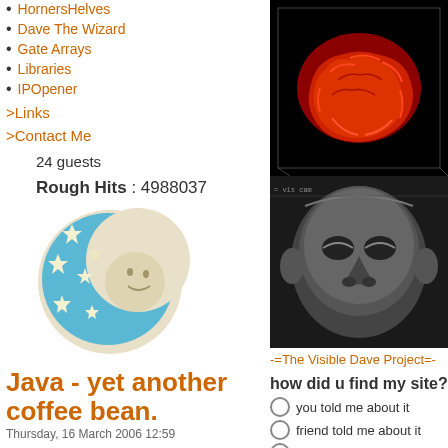HornersHelves
Dave The Wizard
Gate Arrays
Libraries
IPOpener
>Links
>Contact Me
24 guests
Rough Hits : 4988037
[Figure (illustration): Crescent moon with stars illustration in blue and beige tones]
Java - yet another coffee bean.
Thursday, 16 March 2006 12:59
Java is a good programming language. It has a large ecosystem and history. Consoles, Applets SWING & AWT & Native, SWIG to legacy,JNI to
[Figure (photo): 3D rendering of a red brain on black background]
[Figure (photo): Black and white CT scan or 3D reconstruction of a human face, eyes closed]
-=The Visible Dave Project=-
how did u find my site?
you told me about it
friend told me about it
search engine results
typed randomlycfound myself here